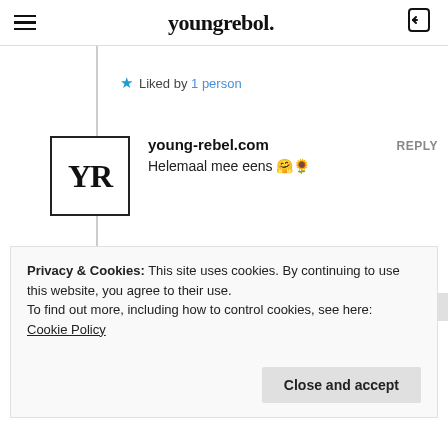youngrebel.
★ Liked by 1 person
young-rebel.com
REPLY
Helemaal mee eens 🤗🌻
★ Liked by 1 person
Alice
REPLY
Privacy & Cookies: This site uses cookies. By continuing to use this website, you agree to their use.
To find out more, including how to control cookies, see here:
Cookie Policy
Close and accept